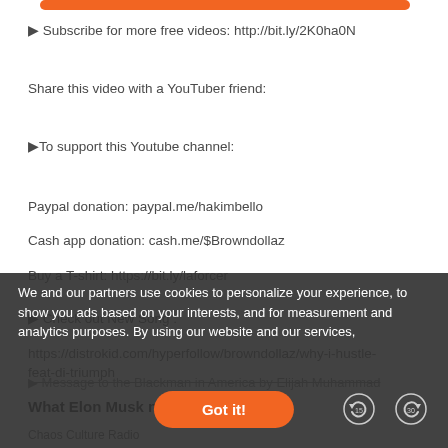[Figure (other): Orange rounded bar at top of page]
▶ Subscribe for more free videos: http://bit.ly/2K0ha0N
Share this video with a YouTuber friend:
▶To support this Youtube channel:
Paypal donation: paypal.me/hakimbello
Cash app donation: cash.me/$Browndollaz
Buy a T-shirt: https://bit.ly/laforcer
▶ Check out New Song :
https://distrokid.com/hyperfollow/browndollaz/why-i-hustle-feat-di-triumph
▶ Message to the Blackman in America by Elijah Muhammad
What Elon Musk n...
Chaos Culture Radio
We and our partners use cookies to personalize your experience, to show you ads based on your interests, and for measurement and analytics purposes. By using our website and our services,
Got it!